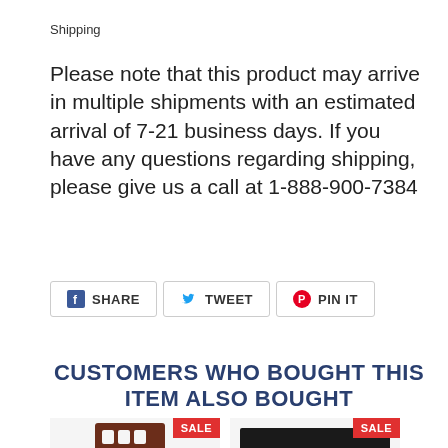Shipping
Please note that this product may arrive in multiple shipments with an estimated arrival of 7-21 business days. If you have any questions regarding shipping, please give us a call at 1-888-900-7384
[Figure (other): Social sharing buttons: SHARE (Facebook), TWEET (Twitter), PIN IT (Pinterest)]
CUSTOMERS WHO BOUGHT THIS ITEM ALSO BOUGHT
[Figure (photo): Product image of a dark wood restaurant chair with cutout back design, with a SALE badge in the top right corner]
[Figure (photo): Product image of a black rectangular table top on a pedestal base, with a SALE badge in the top right corner]